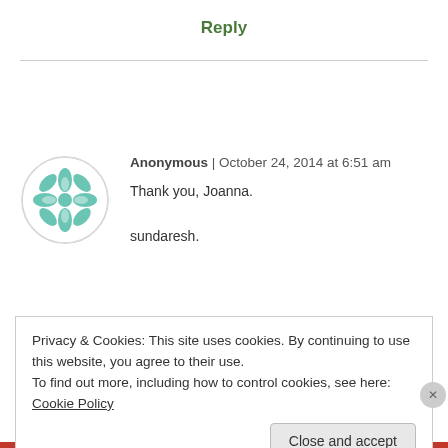Reply
[Figure (illustration): Teal geometric mandala-style circular avatar icon]
Anonymous | October 24, 2014 at 6:51 am
Thank you, Joanna.

sundaresh.
Privacy & Cookies: This site uses cookies. By continuing to use this website, you agree to their use.
To find out more, including how to control cookies, see here: Cookie Policy
Close and accept